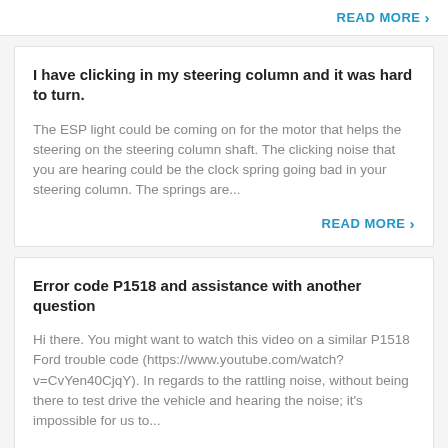READ MORE >
I have clicking in my steering column and it was hard to turn.
The ESP light could be coming on for the motor that helps the steering on the steering column shaft. The clicking noise that you are hearing could be the clock spring going bad in your steering column. The springs are...
READ MORE >
Error code P1518 and assistance with another question
Hi there. You might want to watch this video on a similar P1518 Ford trouble code (https://www.youtube.com/watch?v=CvYen40CjqY). In regards to the rattling noise, without being there to test drive the vehicle and hearing the noise; it's impossible for us to...